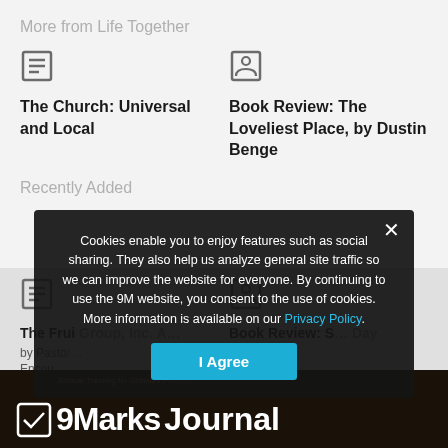More from Life Together
The Church: Universal and Local
Book Review: The Loveliest Place, by Dustin Benge
Recently Added
The Fruit Group, Inc. A…
Book Review: S… Day
Encou…
[Figure (screenshot): 9Marks Journal banner with logo on dark brown/black background]
Cookies enable you to enjoy features such as social sharing. They also help us analyze general site traffic so we can improve the website for everyone. By continuing to use the 9M website, you consent to the use of cookies. More information is available on our Privacy Policy.
I Agree